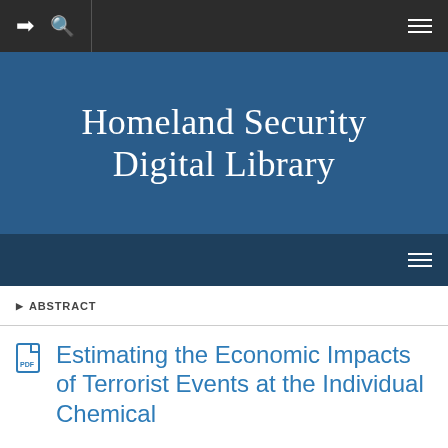Homeland Security Digital Library
ABSTRACT
Estimating the Economic Impacts of Terrorist Events at the Individual Chemical